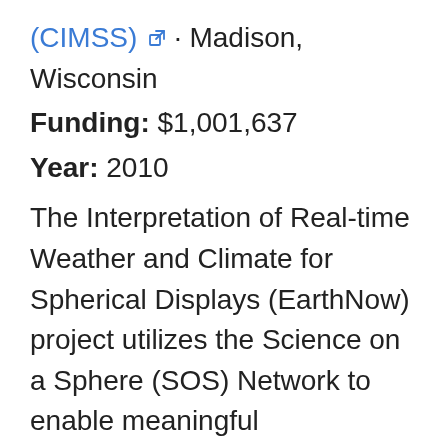(CIMSS) · Madison, Wisconsin
Funding: $1,001,637
Year: 2010
The Interpretation of Real-time Weather and Climate for Spherical Displays (EarthNow) project utilizes the Science on a Sphere (SOS) Network to enable meaningful interpretation of real-time weather and climate data by museum docents and visitors viewing SOS exhibits nationwide. The project will generate and provide real-time NOAA weather, climate and ocean data to the SOS Network along with appropriate training for docents. It will also provide data interpretation